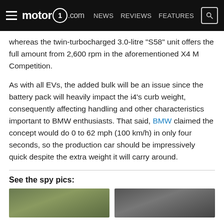motor1.com — NEWS  REVIEWS  FEATURES
whereas the twin-turbocharged 3.0-litre “S58” unit offers the full amount from 2,600 rpm in the aforementioned X4 M Competition.
As with all EVs, the added bulk will be an issue since the battery pack will heavily impact the i4’s curb weight, consequently affecting handling and other characteristics important to BMW enthusiasts. That said, BMW claimed the concept would do 0 to 62 mph (100 km/h) in only four seconds, so the production car should be impressively quick despite the extra weight it will carry around.
See the spy pics:
[Figure (photo): Spy photo of BMW i4, left side, outdoor setting with green vegetation background]
[Figure (photo): Spy photo of BMW i4, right side, outdoor setting with grey/dark background]